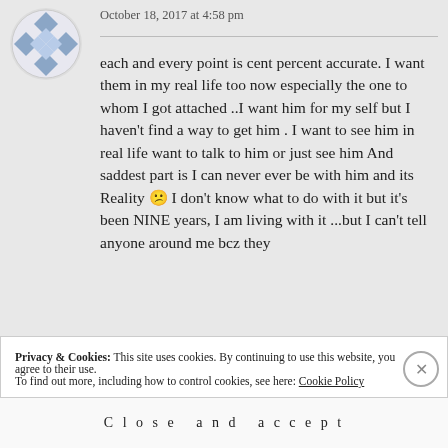[Figure (illustration): User avatar with decorative diamond/cross pattern in blue and white, circular shape]
October 18, 2017 at 4:58 pm
each and every point is cent percent accurate. I want them in my real life too now especially the one to whom I got attached ..I want him for myself but I haven't find a way to get him . I want to see him in real life want to talk to him or just see him And saddest part is I can never ever be with him and its Reality 😕 I don't know what to do with it but it's been NINE years, I am living with it ...but I can't tell anyone around me bcz they
Privacy & Cookies: This site uses cookies. By continuing to use this website, you agree to their use.
To find out more, including how to control cookies, see here: Cookie Policy
Close and accept